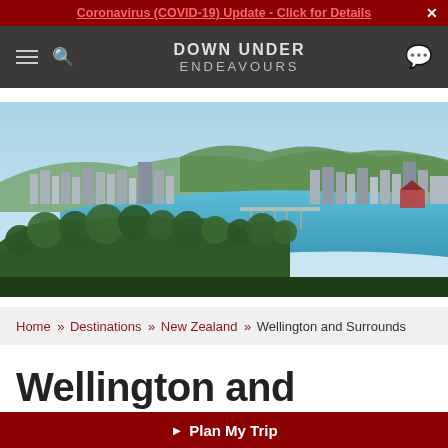Coronavirus (COVID-19) Update - Click for Details
[Figure (logo): Down Under Endeavours logo with hamburger menu and search icon on left, chat icon on right, dark gray navigation bar]
[Figure (photo): Aerial panoramic view of Wellington, New Zealand, showing the city waterfront, harbor with boats, green hills covered with trees in the foreground, and city buildings in the background under a blue sky]
Home » Destinations » New Zealand » Wellington and Surrounds
Wellington and
▶ Plan My Trip